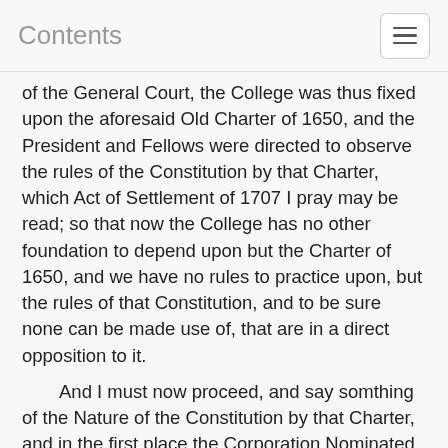Contents
of the General Court, the College was thus fixed upon the aforesaid Old Charter of 1650, and the President and Fellows were directed to observe the rules of the Constitution by that Charter, which Act of Settlement of 1707 I pray may be read; so that now the College has no other foundation to depend upon but the Charter of 1650, and we have no rules to practice upon, but the rules of that Constitution, and to be sure none can be made use of, that are in a direct opposition to it.
And I must now proceed, and say somthing of the Nature of the Constitution by that Charter, and in the first place the Corporation Nominated therein consists of 7 persons viz: a President five Fellows and a Treasurer who were all resident at the